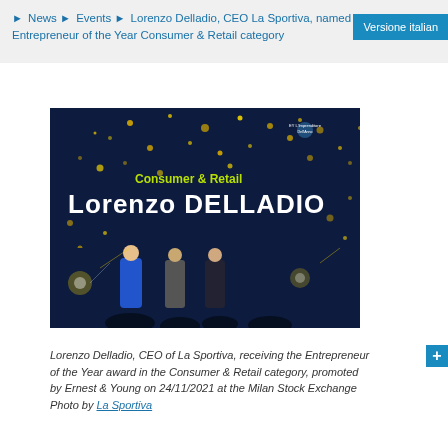► News ► Events ► Lorenzo Delladio, CEO La Sportiva, named Italian Entrepreneur of the Year Consumer & Retail category
[Figure (photo): Award ceremony photo showing 'Consumer & Retail Lorenzo DELLADIO' on a large screen with golden sparkles, and three people on stage. EY L'Imprenditore Dell'Anno logo visible. Event at Milan Stock Exchange.]
Lorenzo Delladio, CEO of La Sportiva, receiving the Entrepreneur of the Year award in the Consumer & Retail category, promoted by Ernest & Young on 24/11/2021 at the Milan Stock Exchange
Photo by La Sportiva